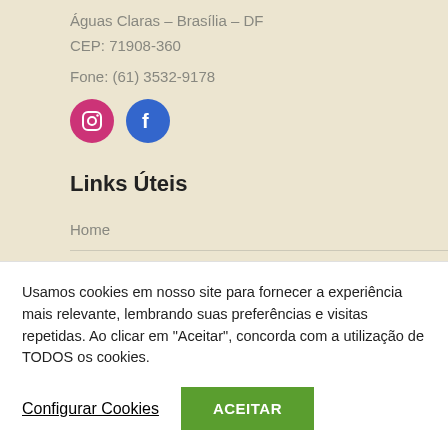Águas Claras – Brasília – DF
CEP: 71908-360
Fone: (61) 3532-9178
[Figure (illustration): Two social media icon circles: Instagram (pink/magenta circle with camera icon) and Facebook (dark blue circle with 'f' letter icon)]
Links Úteis
Home
Loja
Usamos cookies em nosso site para fornecer a experiência mais relevante, lembrando suas preferências e visitas repetidas. Ao clicar em "Aceitar", concorda com a utilização de TODOS os cookies.
Configurar Cookies
ACEITAR